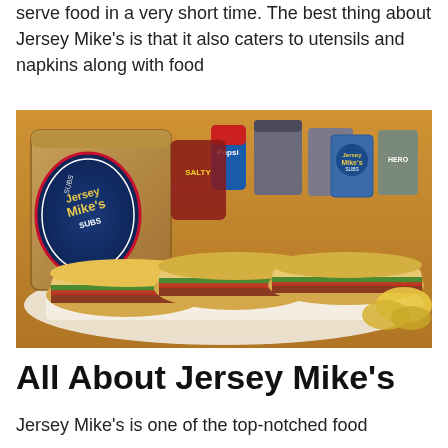serve food in a very short time. The best thing about Jersey Mike's is that it also caters to utensils and napkins along with food
[Figure (photo): Jersey Mike's Subs promotional photo showing multiple sub sandwiches arranged on wax paper with drinks, a paper bag with the Jersey Mike's logo, and chips on a wooden surface.]
All About Jersey Mike's
Jersey Mike's is one of the top-notched food